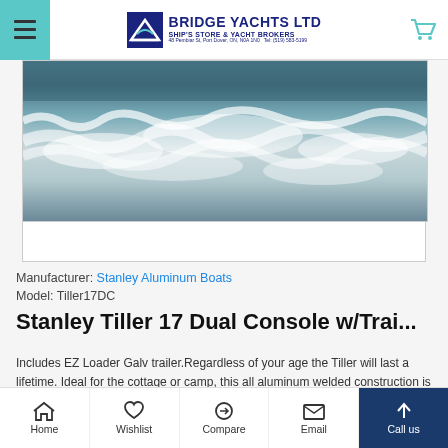Bridge Yachts Ltd - Ship's Store & Yacht Brokers
[Figure (photo): Ocean water surface photo showing waves and foam, used as boat listing hero image]
Manufacturer: Stanley Aluminum Boats
Model: Tiller17DC
Stanley Tiller 17 Dual Console w/Trai...
Includes EZ Loader Galv trailer.Regardless of your age the Tiller will last a lifetime. Ideal for the cottage or camp, this all aluminum welded construction is what makes the Tiller the solid choice.This package is powered with a new Yamaha 70 HP outboard, loaded with features such as power tilt/tri
Home | Wishlist | Compare | Email | Call us